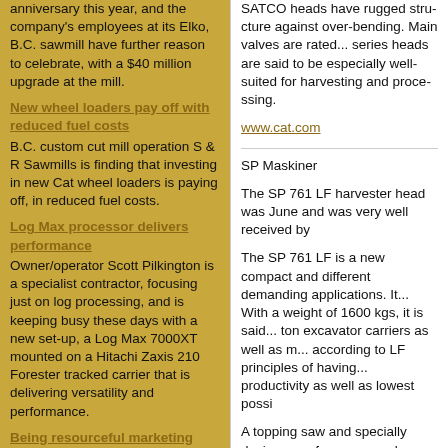anniversary this year, and the company's employees at its Elko, B.C. sawmill have further reason to celebrate, with a $40 million upgrade at the mill.
New wheel loaders pay off with reduced fuel costs
B.C. custom cut mill operation S & R Sawmills is finding that investing in new Cat wheel loaders is paying off, in reduced fuel costs.
Log Max processor delivers performance
Owner/operator Scott Pilkington is a specialist contractor, focusing just on log processing, and is keeping busy these days with a new set-up, a Log Max 7000XT mounted on a Hitachi Zaxis 210 Forester tracked carrier that is delivering versatility and performance.
Being resourceful marketing Canadian wood in India
B.C. forest industry veteran Brian Leslie has had some interesting experiences and adventures since moving to India last year as a technical advisor for B.C.'s Forestry Innovation Investment Ltd.
The Edge
SATCO heads have rugged structure against over-bending. Main valves are rated... series heads are said to be especially well-suited for harvesting and processing.
www.cat.com
SP Maskiner
The SP 761 LF harvester head was... June and was very well received by...
The SP 761 LF is a new compact and different demanding applications. It... With a weight of 1600 kgs, it is said... ton excavator carriers as well as m... according to LF principles of having... productivity as well as lowest possi...
A topping saw and specially design... performance and productivity wher... longest possible life and low mainte... different settings available per spec...
The SP 761 LF is currently being te... be showcased at a number of exhi...
www.spmaskiner.com